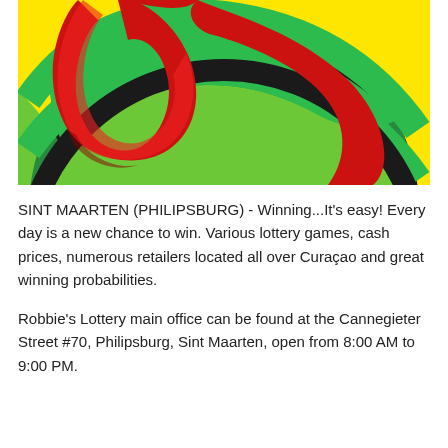[Figure (illustration): Colorful lottery logo image with yellow background, concentric dark ring, green swirl stripes, and large red curved shapes/arrows in the center, cropped at the top.]
SINT MAARTEN (PHILIPSBURG) - Winning...It's easy! Every day is a new chance to win. Various lottery games, cash prices, numerous retailers located all over Curaçao and great winning probabilities.

Robbie's Lottery main office can be found at the Cannegieter Street #70, Philipsburg, Sint Maarten, open from 8:00 AM to 9:00 PM.